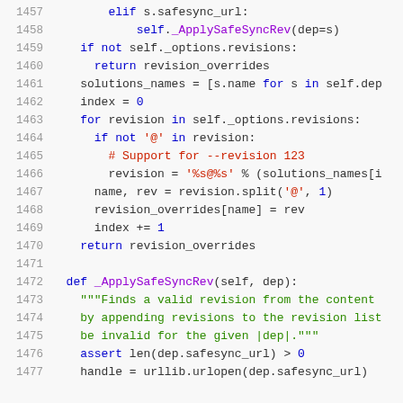[Figure (screenshot): Python source code lines 1457-1477 showing _ApplySafeSyncRev method and surrounding code, displayed in a code editor with syntax highlighting on a light gray background.]